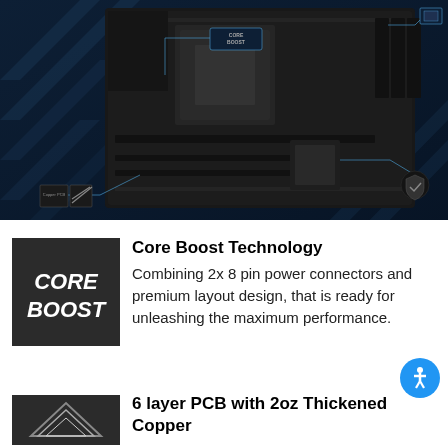[Figure (photo): MSI motherboard product photo on dark blue background with annotation callouts including Core Boost label and copper PCB icons]
[Figure (logo): Core Boost icon - dark square with italic white text CORE BOOST]
Core Boost Technology
Combining 2x 8 pin power connectors and premium layout design, that is ready for unleashing the maximum performance.
[Figure (logo): 6 layer PCB with thickened copper icon - dark square with angular copper layer diagram]
6 layer PCB with 2oz Thickened Copper